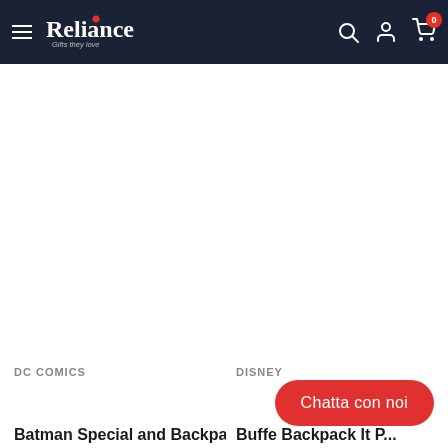Reliance - Gifts they love
DC COMICS
DISNEY
Chatta con noi
Batman Special and Backpack...
Buffe Backpack It P...